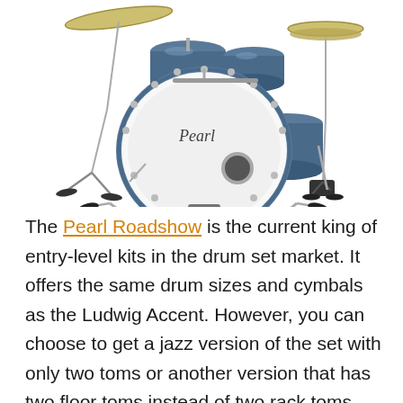[Figure (photo): A Pearl Roadshow drum kit with blue sparkle finish, featuring a large bass drum with Pearl logo, multiple rack toms, a floor tom, hi-hat cymbal, crash cymbal, and various stands on a white background.]
The Pearl Roadshow is the current king of entry-level kits in the drum set market. It offers the same drum sizes and cymbals as the Ludwig Accent. However, you can choose to get a jazz version of the set with only two toms or another version that has two floor toms instead of two rack toms.